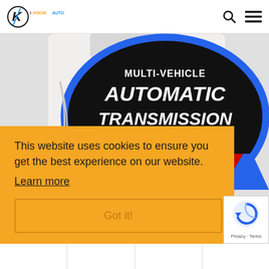iKNOWAUTO navigation header with logo, search icon, and menu icon
[Figure (photo): Close-up of a Multi-Vehicle Automatic Transmission Fluid bottle label showing 'AUTOMATIC TRANSMISSION FLUID', 'LONG LASTING', 'FOR USE IN', 'NEW CARS', 'OLDER CARS' text on a black, red, blue and yellow label]
This website uses cookies to ensure you get the best experience on our website.
Learn more
Got it!
Bottom navigation bar